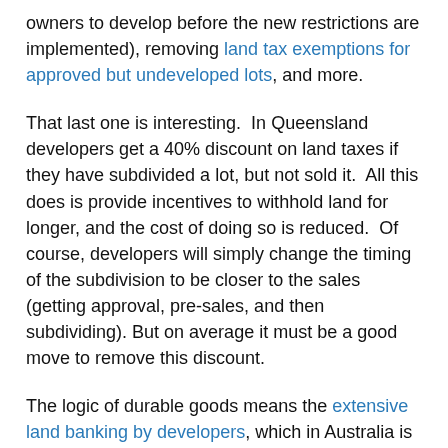owners to develop before the new restrictions are implemented), removing land tax exemptions for approved but undeveloped lots, and more.
That last one is interesting. In Queensland developers get a 40% discount on land taxes if they have subdivided a lot, but not sold it. All this does is provide incentives to withhold land for longer, and the cost of doing so is reduced. Of course, developers will simply change the timing of the subdivision to be closer to the sales (getting approval, pre-sales, and then subdividing). But on average it must be a good move to remove this discount.
The logic of durable goods means the extensive land banking by developers, which in Australia is currently around 19 years supply at current rates of sales, is actually a rent-seeking strategy - an attempt to buy land at a low price with one zoning, only to have it rezoned for more intensive uses before being developed. It is not about anticipating supply needs and navigating regulations.
It means that developers stage developments in order to